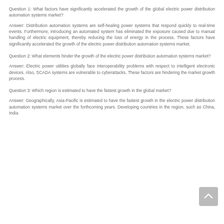Question 1: What factors have significantly accelerated the growth of the global electric power distribution automation systems market?
Answer: Distribution automation systems are self-healing power systems that respond quickly to real-time events. Furthermore, introducing an automated system has eliminated the exposure caused due to manual handling of electric equipment, thereby reducing the loss of energy in the process. These factors have significantly accelerated the growth of the electric power distribution automation systems market.
Question 2: What elements hinder the growth of the electric power distribution automation systems market?
Answer: Electric power utilities globally face interoperability problems with respect to intelligent electronic devices. Also, SCADA systems are vulnerable to cyberattacks. These factors are hindering the market growth process.
Question 3: Which region is estimated to have the fastest growth in the global market?
Answer: Geographically, Asia-Pacific is estimated to have the fastest growth in the electric power distribution automation systems market over the forthcoming years. Developing countries in the region, such as China, India...